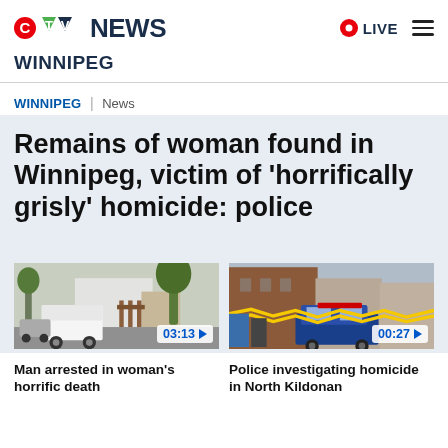CTV NEWS
WINNIPEG
WINNIPEG | News
Remains of woman found in Winnipeg, victim of 'horrifically grisly' homicide: police
[Figure (screenshot): Video thumbnail: police forensic van and white building, with video duration badge 03:13]
[Figure (screenshot): Video thumbnail: police car with yellow crime scene tape, with video duration badge 00:27]
Man arrested in woman's horrific death
Police investigating homicide in North Kildonan